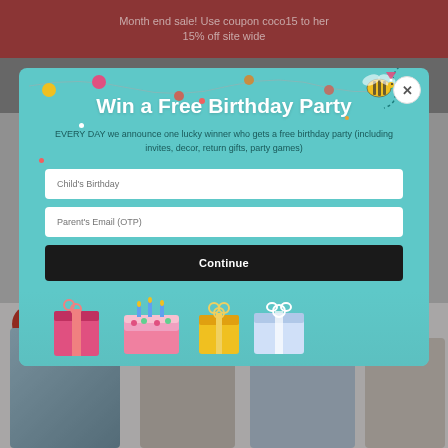Month end sale! Use coupon coco15 to her 15% off site wide
[Figure (screenshot): Birthday party giveaway modal popup with teal background, decorative bee, string lights, birthday cakes and gifts illustration at bottom. Contains form fields for Child's Birthday and Parent's Email (OTP) and a Continue button.]
Win a Free Birthday Party
EVERY DAY we announce one lucky winner who gets a free birthday party (including invites, decor, return gifts, party games)